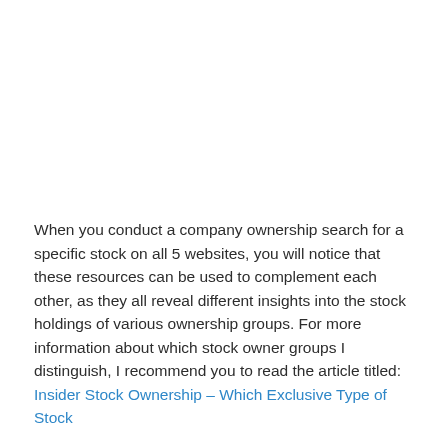When you conduct a company ownership search for a specific stock on all 5 websites, you will notice that these resources can be used to complement each other, as they all reveal different insights into the stock holdings of various ownership groups. For more information about which stock owner groups I distinguish, I recommend you to read the article titled: Insider Stock Ownership – Which Exclusive Type of Stock